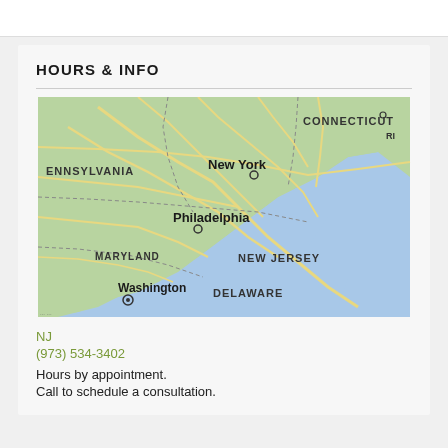HOURS & INFO
[Figure (map): Map of northeastern United States showing Connecticut, Rhode Island, Pennsylvania, New York, Philadelphia, New Jersey, Maryland, Delaware, and Washington D.C.]
NJ
(973) 534-3402
Hours by appointment.
Call to schedule a consultation.